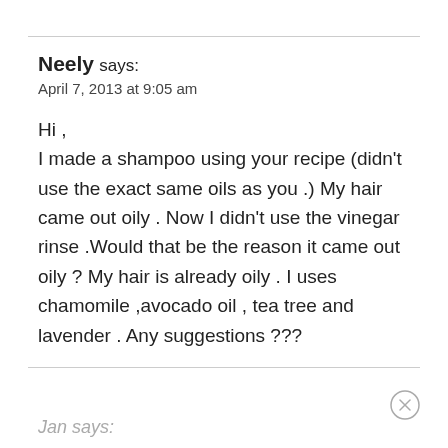Neely says:
April 7, 2013 at 9:05 am

Hi ,
I made a shampoo using your recipe (didn't use the exact same oils as you .) My hair came out oily . Now I didn't use the vinegar rinse .Would that be the reason it came out oily ? My hair is already oily . I uses chamomile ,avocado oil , tea tree and lavender . Any suggestions ???